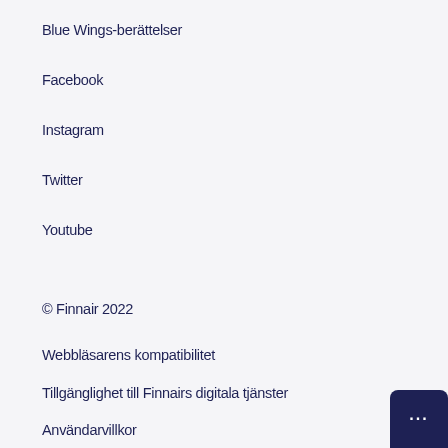Blue Wings-berättelser
Facebook
Instagram
Twitter
Youtube
© Finnair 2022
Webbläsarens kompatibilitet
Tillgänglighet till Finnairs digitala tjänster
Användarvillkor